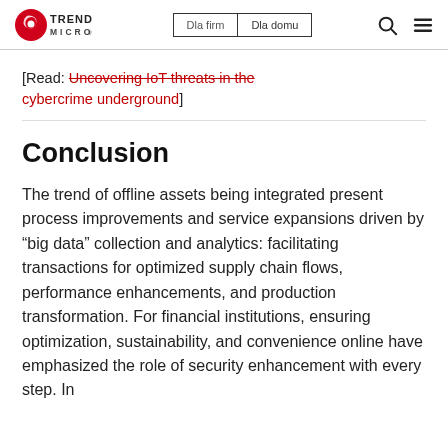Trend Micro | Dla firm | Dla domu
[Read: Uncovering IoT threats in the cybercrime underground]
Conclusion
The trend of offline assets being integrated present process improvements and service expansions driven by “big data” collection and analytics: facilitating transactions for optimized supply chain flows, performance enhancements, and production transformation. For financial institutions, ensuring optimization, sustainability, and convenience online have emphasized the role of security enhancement with every step. In